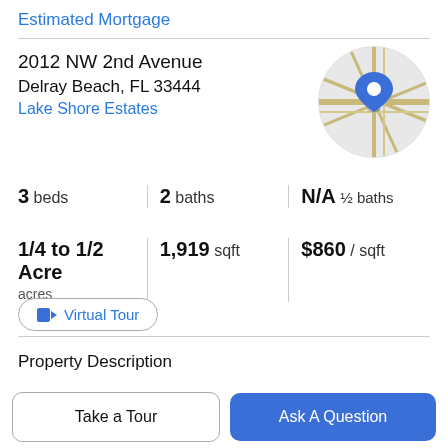Estimated Mortgage
2012 NW 2nd Avenue
Delray Beach, FL 33444
Lake Shore Estates
[Figure (map): Circular map thumbnail showing location pin for 2012 NW 2nd Avenue, Delray Beach, FL with road overlay]
3 beds | 2 baths | N/A ½ baths
1/4 to 1/2 Acre acres | 1,919 sqft | $860 / sqft
Virtual Tour
Property Description
Welcome home to this charming one story home in the
Take a Tour
Ask A Question